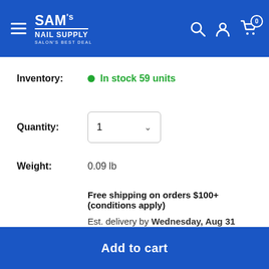[Figure (logo): SAM's NAIL SUPPLY logo with hamburger menu, search, account, and cart icons on blue header background]
Inventory: • In stock 59 units
Quantity: 1
Weight: 0.09 lb
Free shipping on orders $100+ (conditions apply)
Est. delivery by Wednesday, Aug 31
Add to cart